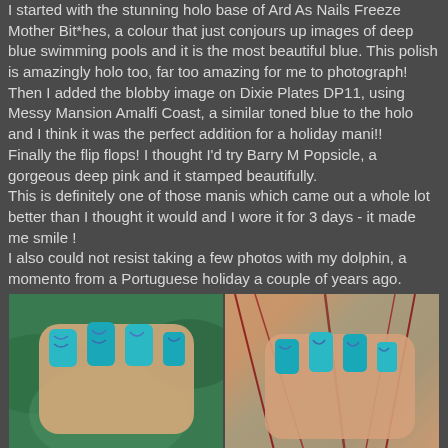I started with the stunning holo base of Ard As Nails Freeze Mother Bit*hes, a colour that just conjours up images of deep blue swimming pools and it is the most beautiful blue. This polish is amazingly holo too, far too amazing for me to photograph!
Then I added the blobby image on Dixie Plates DP11, using Messy Mansion Amalfi Coast, a similar toned blue to the holo and I think it was the perfect addition for a holiday mani!!
Finally the flip flops! I thought I'd try Barry M Popsicle, a gorgeous deep pink and it stamped beautifully.
This is definitely one of those manis which came out a whole lot better than I thought it would and I wore it for 3 days - it made me smile !
I also could not resist taking a few photos with my dolphin, a momento from a Portuguese holiday a couple of years ago.
[Figure (photo): Two side-by-side photos of a hand with teal/turquoise holographic nail art featuring blue stamped patterns. Left photo shows nails on a green leafy background, right photo shows nails with red plant stems in background.]